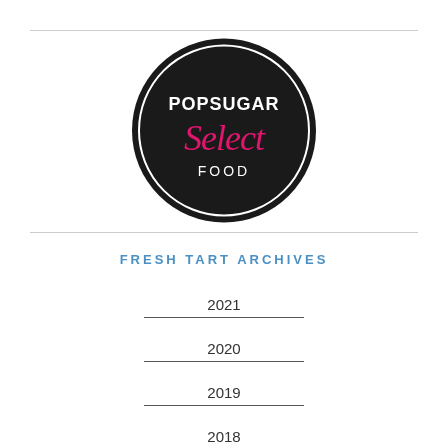[Figure (logo): POPSUGAR Select FOOD circular badge logo — black circle with white ring border, white bold text 'POPSUGAR', pink cursive text 'Select', white uppercase text 'FOOD']
FRESH TART ARCHIVES
2021
2020
2019
2018